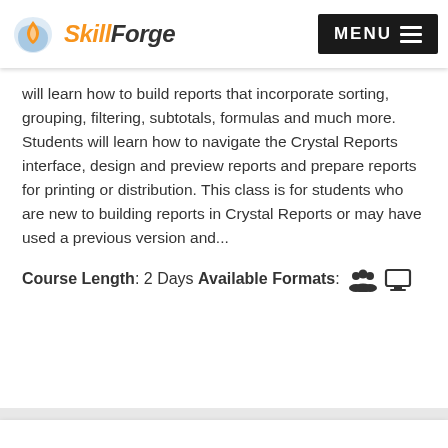SkillForge — MENU
will learn how to build reports that incorporate sorting, grouping, filtering, subtotals, formulas and much more. Students will learn how to navigate the Crystal Reports interface, design and preview reports and prepare reports for printing or distribution. This class is for students who are new to building reports in Crystal Reports or may have used a previous version and...
Course Length: 2 Days Available Formats:
[Figure (logo): Crystal Reports logo — four green circles arranged in a diamond/cross pattern above the text 'crystal reports']